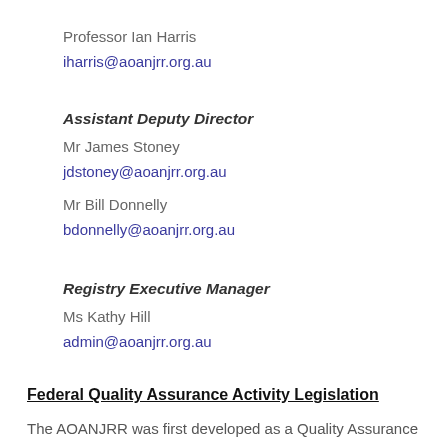Professor Ian Harris
iharris@aoanjrr.org.au
Assistant Deputy Director
Mr James Stoney
jdstoney@aoanjrr.org.au
Mr Bill Donnelly
bdonnelly@aoanjrr.org.au
Registry Executive Manager
Ms Kathy Hill
admin@aoanjrr.org.au
Federal Quality Assurance Activity Legislation
The AOANJRR was first developed as a Quality Assurance